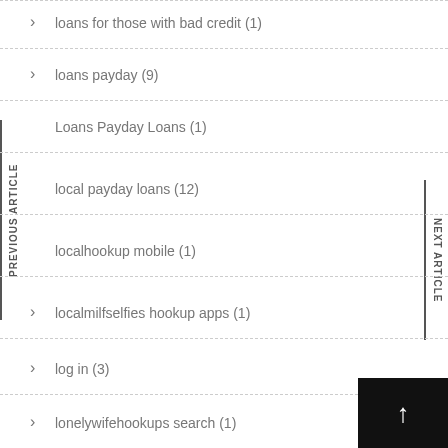loans for those with bad credit (1)
loans payday (9)
Loans Payday Loans (1)
local payday loans (12)
localhookup mobile (1)
localmilfselfies hookup apps (1)
log in (3)
lonelywifehookups search (1)